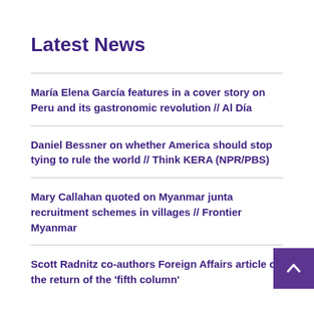Latest News
María Elena García features in a cover story on Peru and its gastronomic revolution // Al Día
Daniel Bessner on whether America should stop tying to rule the world // Think KERA (NPR/PBS)
Mary Callahan quoted on Myanmar junta recruitment schemes in villages // Frontier Myanmar
Scott Radnitz co-authors Foreign Affairs article on the return of the 'fifth column'